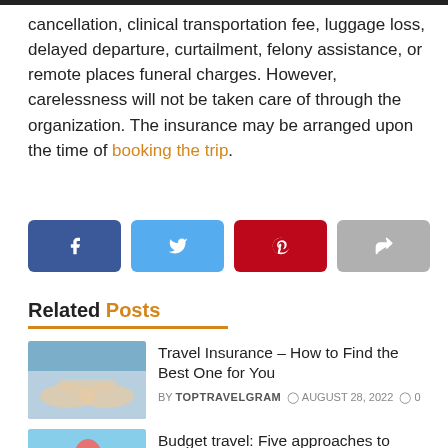cancellation, clinical transportation fee, luggage loss, delayed departure, curtailment, felony assistance, or remote places funeral charges. However, carelessness will not be taken care of through the organization. The insurance may be arranged upon the time of booking the trip.
[Figure (infographic): Four social share buttons: Facebook (blue), Twitter (light blue), Pinterest (red), Share (gray)]
Related Posts
Travel Insurance – How to Find the Best One for You
BY TOPTRAVELGRAM  AUGUST 28, 2022  0
Budget travel: Five approaches to make your next vacation cheaper